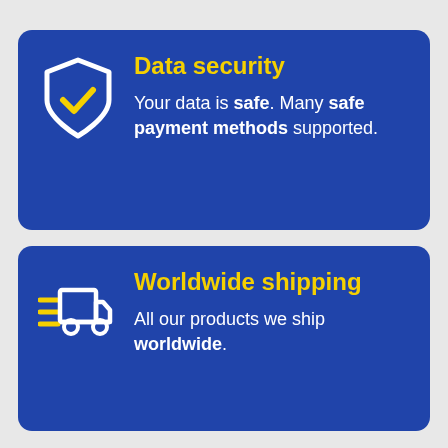[Figure (infographic): Blue rounded card with a white shield icon containing a yellow checkmark, titled 'Data security' in yellow, with body text: 'Your data is safe. Many safe payment methods supported.' in white.]
[Figure (infographic): Blue rounded card with a white delivery truck icon with yellow speed lines, titled 'Worldwide shipping' in yellow, with body text: 'All our products we ship worldwide.' in white.]